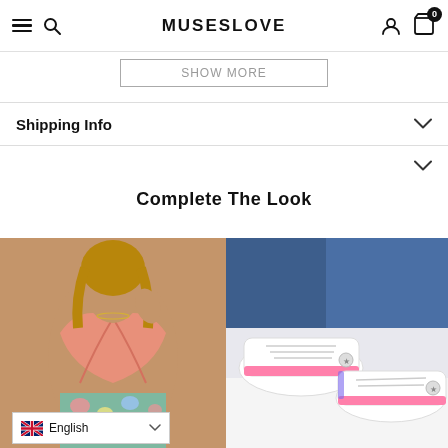MUSESLOVE
SHOW MORE
Shipping Info
Complete The Look
[Figure (photo): Woman wearing a pink wrap crop top halter with floral print bottom]
[Figure (photo): White sneakers with pink sole accents, worn with blue jeans]
English